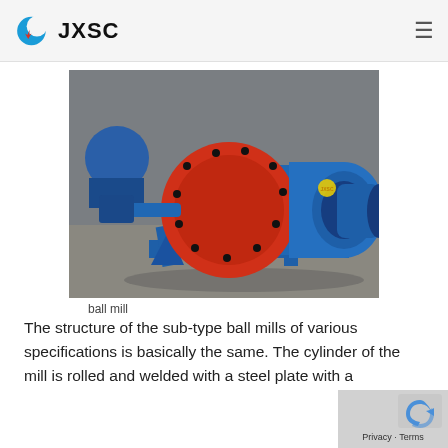JXSC
[Figure (photo): Blue and red industrial ball mill machine sitting on a concrete floor inside a manufacturing facility. The machine has a large red cylindrical drum and blue housing/frame with JXSC logo visible.]
ball mill
The structure of the sub-type ball mills of various specifications is basically the same. The cylinder of the mill is rolled and welded with a steel plate with a